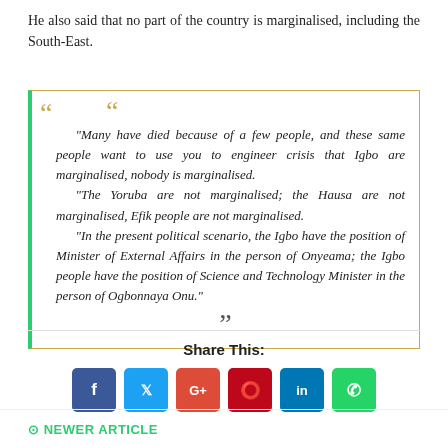He also said that no part of the country is marginalised, including the South-East.
"Many have died because of a few people, and these same people want to use you to engineer crisis that Igbo are marginalised, nobody is marginalised. "The Yoruba are not marginalised; the Hausa are not marginalised, Efik people are not marginalised. "In the present political scenario, the Igbo have the position of Minister of External Affairs in the person of Onyeama; the Igbo people have the position of Science and Technology Minister in the person of Ogbonnaya Onu."
Share This:
[Figure (infographic): Social media share buttons: Facebook (blue), Twitter (light blue), Google+ (red), Pinterest (dark red), LinkedIn (dark blue), WhatsApp (green)]
NEWER ARTICLE